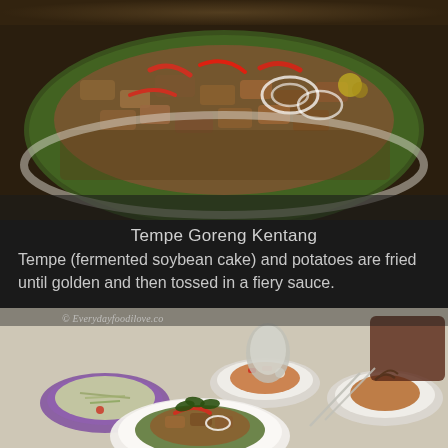[Figure (photo): Close-up photo of Tempe Goreng Kentang dish - fried fermented soybean cake with potatoes, red chilies, sliced onions served on a banana leaf on a plate]
Tempe Goreng Kentang
Tempe (fermented soybean cake) and potatoes are fried until golden and then tossed in a fiery sauce.
[Figure (photo): Food photography showing multiple dishes including Tempe Goreng Kentang with accompanying salads and side dishes arranged on plates, with a copyright watermark reading © Everydayfoodilove.co]